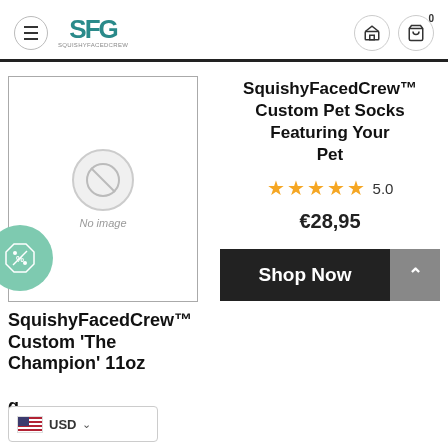SFG store header with hamburger menu, logo, home icon, and cart icon
[Figure (photo): Product image placeholder with 'No image' icon and discount badge with % tag]
SquishyFacedCrew™ Custom Pet Socks Featuring Your Pet
★★★★★ 5.0
€28,95
Shop Now
SquishyFacedCrew™ Custom 'The Champion' 11oz Mug
★★ 5.0
USD currency selector